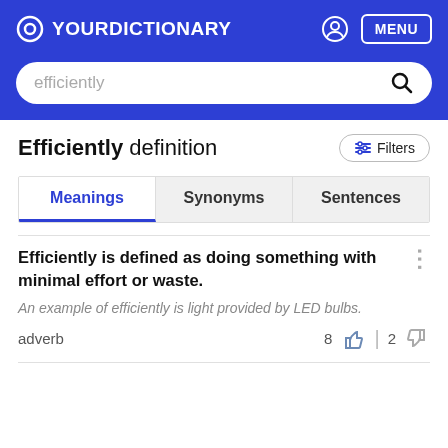YourDictionary
efficiently
Efficiently definition
Filters
Meanings | Synonyms | Sentences
Efficiently is defined as doing something with minimal effort or waste.
An example of efficiently is light provided by LED bulbs.
adverb
8 | 2